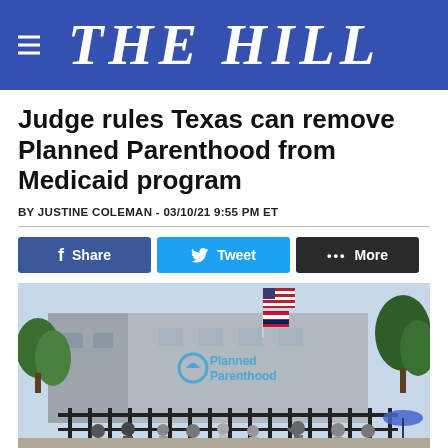THE HILL
Judge rules Texas can remove Planned Parenthood from Medicaid program
BY JUSTINE COLEMAN - 03/10/21 9:55 PM ET
[Figure (screenshot): Social sharing buttons: Facebook Share, Twitter Tweet, More]
[Figure (photo): Exterior photo of a Planned Parenthood building with American flag and Missouri flag, people gathered outside near a black iron fence, trees visible]